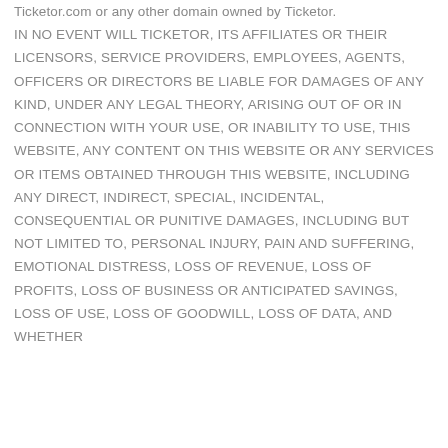Ticketor.com or any other domain owned by Ticketor. IN NO EVENT WILL TICKETOR, ITS AFFILIATES OR THEIR LICENSORS, SERVICE PROVIDERS, EMPLOYEES, AGENTS, OFFICERS OR DIRECTORS BE LIABLE FOR DAMAGES OF ANY KIND, UNDER ANY LEGAL THEORY, ARISING OUT OF OR IN CONNECTION WITH YOUR USE, OR INABILITY TO USE, THIS WEBSITE, ANY CONTENT ON THIS WEBSITE OR ANY SERVICES OR ITEMS OBTAINED THROUGH THIS WEBSITE, INCLUDING ANY DIRECT, INDIRECT, SPECIAL, INCIDENTAL, CONSEQUENTIAL OR PUNITIVE DAMAGES, INCLUDING BUT NOT LIMITED TO, PERSONAL INJURY, PAIN AND SUFFERING, EMOTIONAL DISTRESS, LOSS OF REVENUE, LOSS OF PROFITS, LOSS OF BUSINESS OR ANTICIPATED SAVINGS, LOSS OF USE, LOSS OF GOODWILL, LOSS OF DATA, AND WHETHER